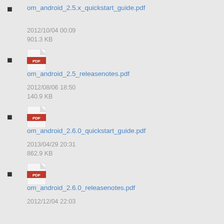om_android_2.5.x_quickstart_guide.pdf
2012/10/04 00:09
901.3 KB
om_android_2.5_releasenotes.pdf
2012/08/06 18:50
140.9 KB
om_android_2.6.0_quickstart_guide.pdf
2013/04/29 20:31
862.9 KB
om_android_2.6.0_releasenotes.pdf
2012/12/04 22:03